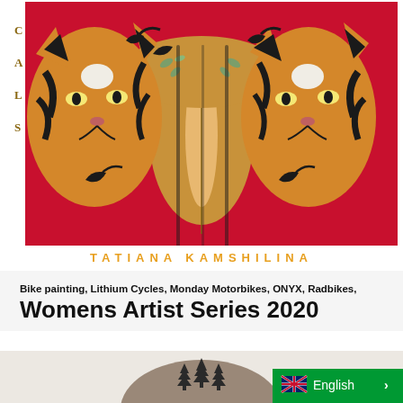[Figure (illustration): Colorful artwork by Tatiana Kamshilina showing two tiger faces flanking a central figure, with decorative birds and foliage patterns in red, black, white, and amber tones. Side letters C, A, L, S visible on left margin.]
TATIANA KAMSHILINA
Bike painting, Lithium Cycles, Monday Motorbikes, ONYX, Radbikes, Vintage Electric Bikes - May 19, 2020
Womens Artist Series 2020
[Figure (photo): Partial view of a person wearing a helmet or head covering decorated with tree/pine illustrations, on a light background. An English language selector widget with UK flag is overlaid at bottom right.]